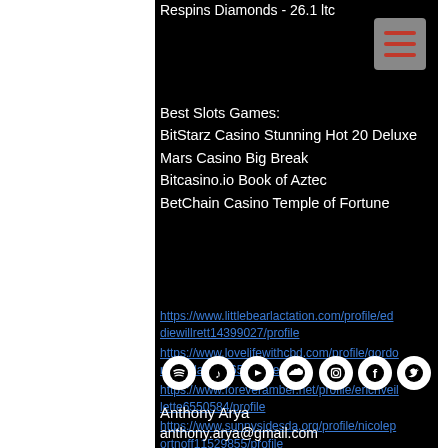Respins Diamonds - 26.1 ltc
Best Slots Games:
BitStarz Casino Stunning Hot 20 Deluxe
Mars Casino Big Break
Bitcasino.io Book of Aztec
BetChain Casino Temple of Fortune
https://www.littlebearlactation.com/profile/eddiewillrett14399027/profile
https://www.lovelifewithcbd.com/profile/gordonhatada619965/profile
https://www.foreveramber.net/profile/erichveillette6550584/profile
https://www.sunnysidesda.org/profile/nicoleportnoff11529855/profile
[Figure (other): Row of 7 social media icon circles: Spotify, Music, YouTube, SoundCloud, Instagram, Facebook, Twitter]
Anthony Arya
anthony.arya@gmail.com